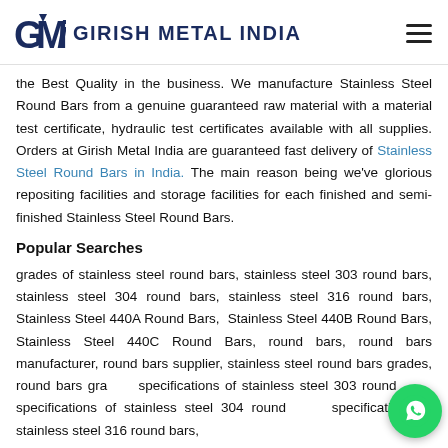GMI GIRISH METAL INDIA
the Best Quality in the business. We manufacture Stainless Steel Round Bars from a genuine guaranteed raw material with a material test certificate, hydraulic test certificates available with all supplies. Orders at Girish Metal India are guaranteed fast delivery of Stainless Steel Round Bars in India. The main reason being we've glorious repositing facilities and storage facilities for each finished and semi-finished Stainless Steel Round Bars.
Popular Searches
grades of stainless steel round bars, stainless steel 303 round bars, stainless steel 304 round bars, stainless steel 316 round bars, Stainless Steel 440A Round Bars, Stainless Steel 440B Round Bars, Stainless Steel 440C Round Bars, round bars, round bars manufacturer, round bars supplier, stainless steel round bars grades, round bars grades, specifications of stainless steel 303 round bars, specifications of stainless steel 304 round bars, specifications of stainless steel 316 round bars,